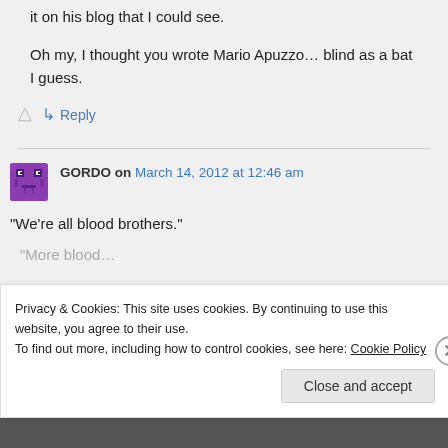it on his blog that I could see.
Oh my, I thought you wrote Mario Apuzzo… blind as a bat I guess.
↳ Reply
GORDO on March 14, 2012 at 12:46 am
“We’re all blood brothers.”
Privacy & Cookies: This site uses cookies. By continuing to use this website, you agree to their use.
To find out more, including how to control cookies, see here: Cookie Policy
Close and accept